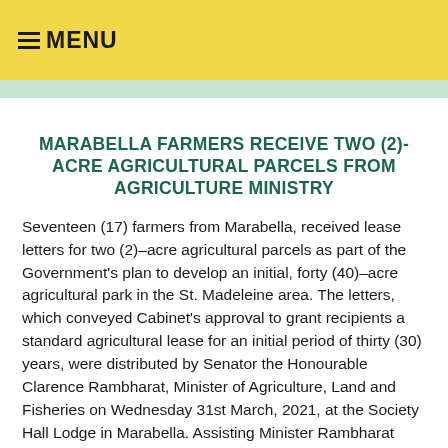≡ MENU
MARABELLA FARMERS RECEIVE TWO (2)-ACRE AGRICULTURAL PARCELS FROM AGRICULTURE MINISTRY
Seventeen (17) farmers from Marabella, received lease letters for two (2)–acre agricultural parcels as part of the Government's plan to develop an initial, forty (40)–acre agricultural park in the St. Madeleine area. The letters, which conveyed Cabinet's approval to grant recipients a standard agricultural lease for an initial period of thirty (30) years, were distributed by Senator the Honourable Clarence Rambharat, Minister of Agriculture, Land and Fisheries on Wednesday 31st March, 2021, at the Society Hall Lodge in Marabella. Assisting Minister Rambharat with the distribution at